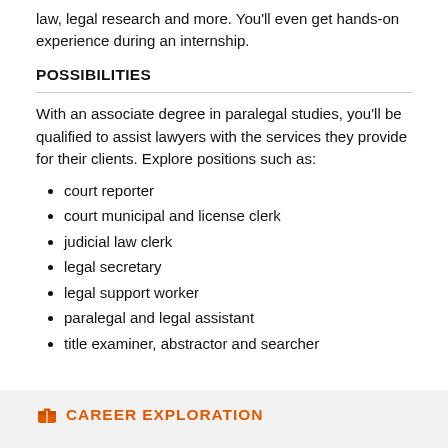law, legal research and more. You'll even get hands-on experience during an internship.
POSSIBILITIES
With an associate degree in paralegal studies, you'll be qualified to assist lawyers with the services they provide for their clients. Explore positions such as:
court reporter
court municipal and license clerk
judicial law clerk
legal secretary
legal support worker
paralegal and legal assistant
title examiner, abstractor and searcher
CAREER EXPLORATION